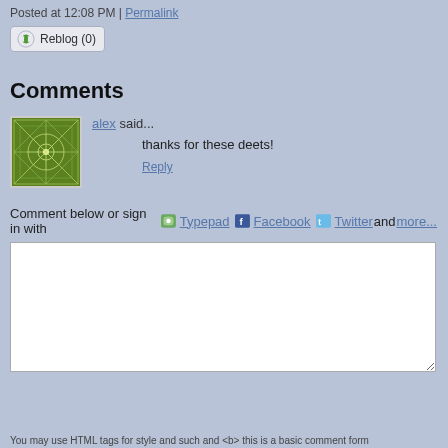Posted at 12:08 PM | Permalink
Reblog (0)
Comments
alex said...
thanks for these deets!
Reply
Comment below or sign in with Typepad Facebook Twitter and more...
You may use HTML tags for style and such and <b> this is a basic comment form